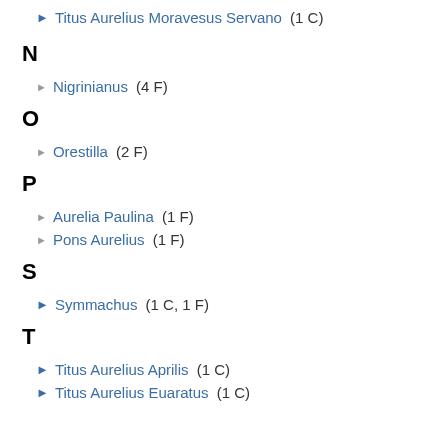► Titus Aurelius Moravesus Servano (1 C)
N
► Nigrinianus (4 F)
O
► Orestilla (2 F)
P
► Aurelia Paulina (1 F)
► Pons Aurelius (1 F)
S
► Symmachus (1 C, 1 F)
T
► Titus Aurelius Aprilis (1 C)
► Titus Aurelius Euaratus (1 C)